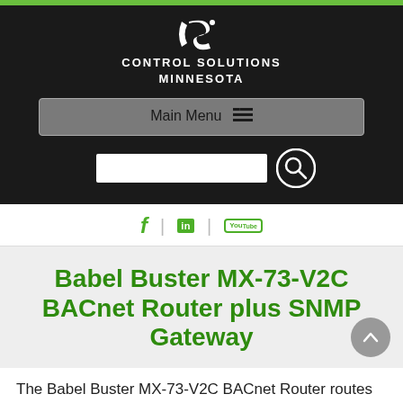[Figure (logo): Control Solutions Minnesota logo with stylized CS icon and company name in white on black background]
Main Menu
[Figure (screenshot): Search input field with circular search button icon]
Social media icons: Facebook, LinkedIn, YouTube
Babel Buster MX-73-V2C BACnet Router plus SNMP Gateway
The Babel Buster MX-73-V2C BACnet Router routes BACnet messages between BACnet/Based BACnet...